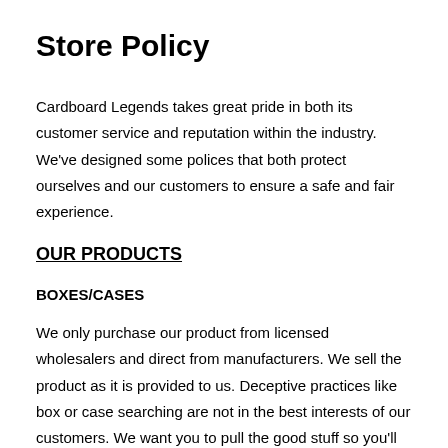Store Policy
Cardboard Legends takes great pride in both its customer service and reputation within the industry. We've designed some polices that both protect ourselves and our customers to ensure a safe and fair experience.
OUR PRODUCTS
BOXES/CASES
We only purchase our product from licensed wholesalers and direct from manufacturers. We sell the product as it is provided to us. Deceptive practices like box or case searching are not in the best interests of our customers. We want you to pull the good stuff so you'll come back for more. Odds stated per box or per case come from the manufacturer, and like them, we provide no guarantee of ratio or quantity of hits. For details